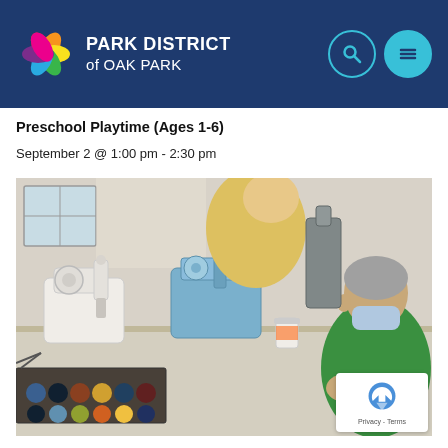PARK DISTRICT of OAK PARK
Preschool Playtime (Ages 1-6)
September 2 @ 1:00 pm - 2:30 pm
[Figure (photo): A person wearing a green shirt and face mask sitting at a table working with sewing machines, thread spools, and sewing supplies in a classroom or community center setting.]